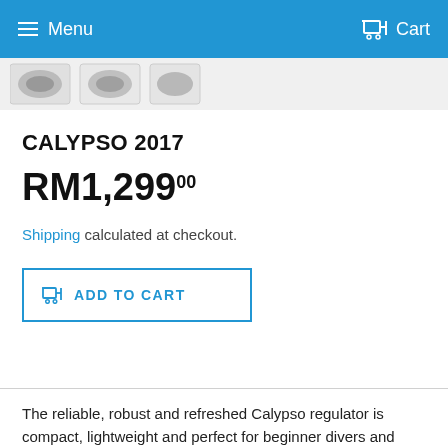Menu  Cart
[Figure (photo): Partial product image thumbnails of Calypso 2017 regulator]
CALYPSO 2017
RM1,299.00
Shipping calculated at checkout.
ADD TO CART
The reliable, robust and refreshed Calypso regulator is compact, lightweight and perfect for beginner divers and dive centers. The Calypso regulator has been a dependable